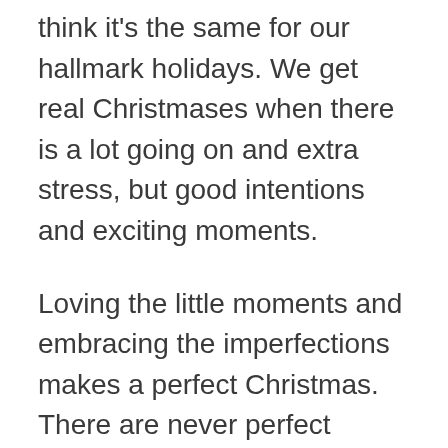think it's the same for our hallmark holidays. We get real Christmases when there is a lot going on and extra stress, but good intentions and exciting moments.
Loving the little moments and embracing the imperfections makes a perfect Christmas. There are never perfect holidays. Even in the movies, something goes awfully wrong or someone is a Scrooge. But everything